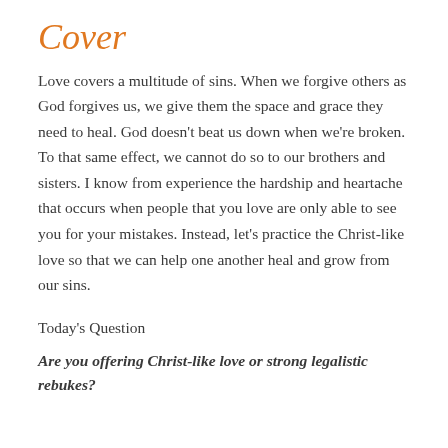Cover
Love covers a multitude of sins. When we forgive others as God forgives us, we give them the space and grace they need to heal. God doesn't beat us down when we're broken. To that same effect, we cannot do so to our brothers and sisters. I know from experience the hardship and heartache that occurs when people that you love are only able to see you for your mistakes. Instead, let's practice the Christ-like love so that we can help one another heal and grow from our sins.
Today's Question
Are you offering Christ-like love or strong legalistic rebukes?